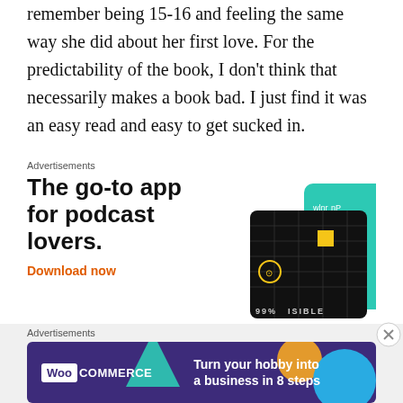remember being 15-16 and feeling the same way she did about her first love. For the predictability of the book, I don't think that necessarily makes a book bad. I just find it was an easy read and easy to get sucked in.
Advertisements
[Figure (illustration): Advertisement for a podcast app. Text reads 'The go-to app for podcast lovers.' with 'Download now' in orange. Shows a dark grid-pattern phone screen with a yellow square and text '99% INVISIBLE', alongside a teal card with text 'On'.]
Advertisements
[Figure (illustration): Advertisement for WooCommerce. Purple background with WooCommerce logo and text 'Turn your hobby into a business in 8 steps'. Decorative teal triangle, orange circle, and blue circle shapes.]